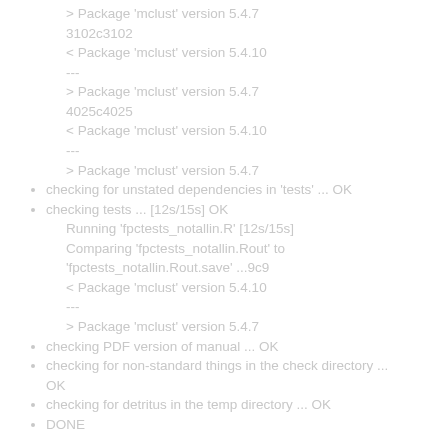> Package 'mclust' version 5.4.7
3102c3102
< Package 'mclust' version 5.4.10
---
> Package 'mclust' version 5.4.7
4025c4025
< Package 'mclust' version 5.4.10
---
> Package 'mclust' version 5.4.7
checking for unstated dependencies in 'tests' ... OK
checking tests ... [12s/15s] OK
    Running 'fpctests_notallin.R' [12s/15s]
    Comparing 'fpctests_notallin.Rout' to 'fpctests_notallin.Rout.save' ...9c9
    < Package 'mclust' version 5.4.10
    ---
    > Package 'mclust' version 5.4.7
checking PDF version of manual ... OK
checking for non-standard things in the check directory ... OK
checking for detritus in the temp directory ... OK
DONE
Status: OK